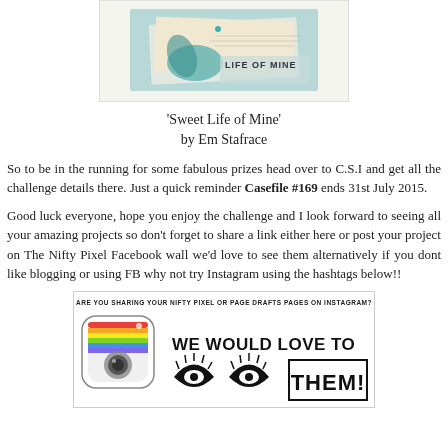[Figure (photo): Scrapbook page titled 'Life of Mine' with teal bird/feather artwork and overlapping paper layers]
'Sweet Life of Mine'
by Em Stafrace
So to be in the running for some fabulous prizes head over to C.S.I and get all the challenge details there. Just a quick reminder Casefile #169 ends 31st July 2015.
Good luck everyone, hope you enjoy the challenge and I look forward to seeing all your amazing projects so don't forget to share a link either here or post your project on The Nifty Pixel Facebook wall we'd love to see them alternatively if you dont like blogging or using FB why not try Instagram using the hashtags below!!
[Figure (infographic): Instagram promotional banner: 'ARE YOU SHARING YOUR NIFTY PIXEL OR PAGE DRAFTS PAGES ON INSTAGRAM? WE WOULD LOVE TO [SEE] THEM!' with Instagram camera logo and stylized eyes graphic]